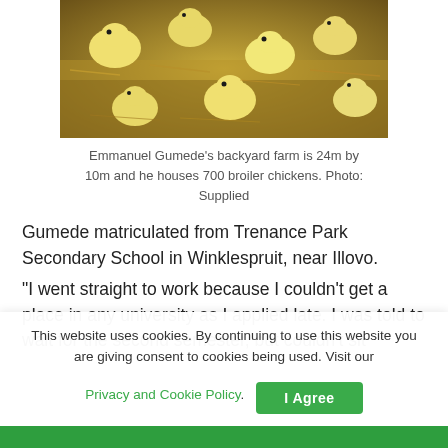[Figure (photo): Baby chicks (broiler chickens) crowded together on straw/sawdust bedding, viewed from above. Yellow fluffy chicks and wood shavings visible.]
Emmanuel Gumede's backyard farm is 24m by 10m and he houses 700 broiler chickens. Photo: Supplied
Gumede matriculated from Trenance Park Secondary School in Winklespruit, near Illovo.
“I went straight to work because I couldn’t get a place in any university as I applied late. I was told to wait for the second semester, but couldn’t sit
This website uses cookies. By continuing to use this website you are giving consent to cookies being used. Visit our Privacy and Cookie Policy.   I Agree